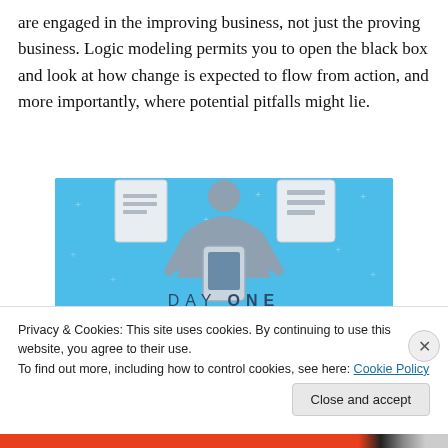are engaged in the improving business, not just the proving business. Logic modeling permits you to open the black box and look at how change is expected to flow from action, and more importantly, where potential pitfalls might lie.
[Figure (illustration): Day One journaling app advertisement on a blue background. Shows a person holding a phone with document/clipboard icons, text reads 'DAY ONE' and 'The only journaling app you'll ever need.']
Privacy & Cookies: This site uses cookies. By continuing to use this website, you agree to their use.
To find out more, including how to control cookies, see here: Cookie Policy